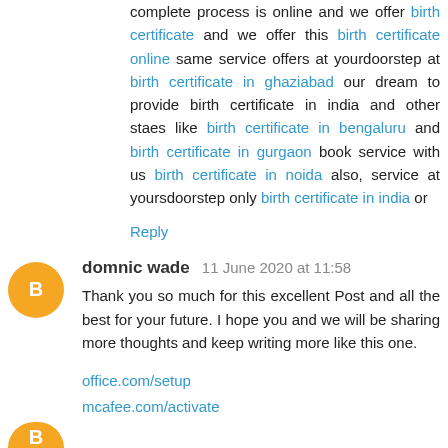complete process is online and we offer birth certificate and we offer this birth certificate online same service offers at yourdoorstep at birth certificate in ghaziabad our dream to provide birth certificate in india and other staes like birth certificate in bengaluru and birth certificate in gurgaon book service with us birth certificate in noida also, service at yoursdoorstep only birth certificate in india or
Reply
domnic wade  11 June 2020 at 11:58
Thank you so much for this excellent Post and all the best for your future. I hope you and we will be sharing more thoughts and keep writing more like this one.
office.com/setup
mcafee.com/activate
Reply